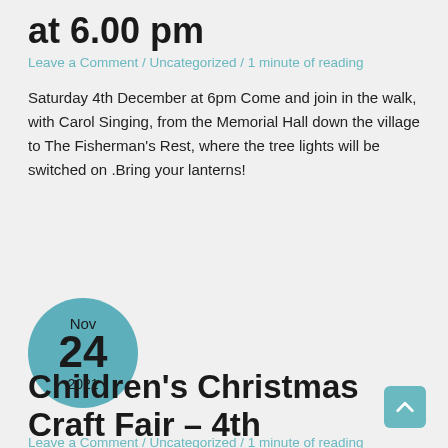at 6.00 pm
Leave a Comment / Uncategorized / 1 minute of reading
Saturday 4th December at 6pm Come and join in the walk, with Carol Singing, from the Memorial Hall down the village to The Fisherman's Rest, where the tree lights will be switched on .Bring your lanterns!
[Figure (other): Circular date badge showing Nov 24 2021 in teal color]
Children's Christmas Craft Fair – 4th December
Leave a Comment / Uncategorized / 1 minute of reading